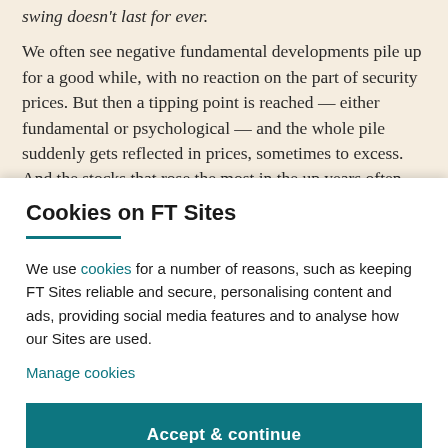swing doesn't last for ever.
We often see negative fundamental developments pile up for a good while, with no reaction on the part of security prices. But then a tipping point is reached — either fundamental or psychological — and the whole pile suddenly gets reflected in prices, sometimes to excess. And the stocks that rose the most in the up years often
Cookies on FT Sites
We use cookies for a number of reasons, such as keeping FT Sites reliable and secure, personalising content and ads, providing social media features and to analyse how our Sites are used.
Manage cookies
Accept & continue